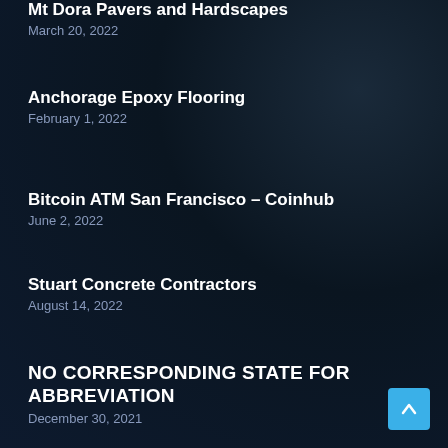Mt Dora Pavers and Hardscapes
March 20, 2022
Anchorage Epoxy Flooring
February 1, 2022
Bitcoin ATM San Francisco – Coinhub
June 2, 2022
Stuart Concrete Contractors
August 14, 2022
NO CORRESPONDING STATE FOR ABBREVIATION
December 30, 2021